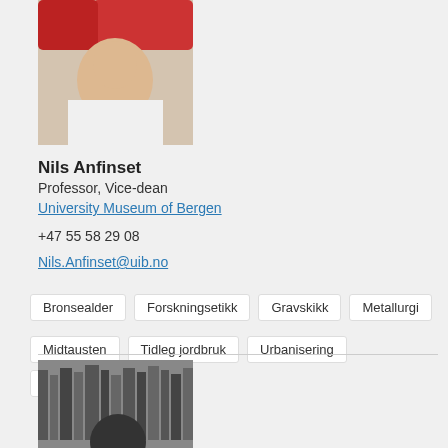[Figure (photo): Portrait photo of Nils Anfinset, a man in a white t-shirt with flowers in background]
Nils Anfinset
Professor, Vice-dean
University Museum of Bergen
+47 55 58 29 08
Nils.Anfinset@uib.no
Bronsealder
Forskningsetikk
Gravskikk
Metallurgi
Midtausten
Tidleg jordbruk
Urbanisering
Yngre steinalder
[Figure (photo): Black and white photo showing bookshelves with a person partially visible]